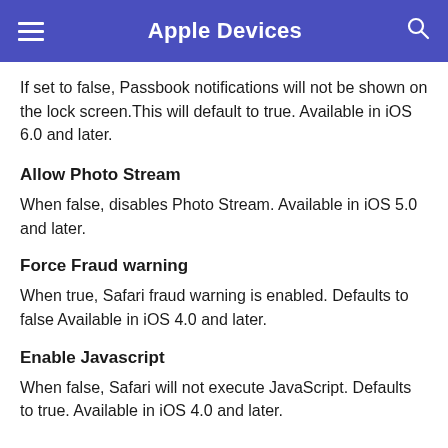Apple Devices
If set to false, Passbook notifications will not be shown on the lock screen. This will default to true. Available in iOS 6.0 and later.
Allow Photo Stream
When false, disables Photo Stream. Available in iOS 5.0 and later.
Force Fraud warning
When true, Safari fraud warning is enabled. Defaults to false Available in iOS 4.0 and later.
Enable Javascript
When false, Safari will not execute JavaScript. Defaults to true. Available in iOS 4.0 and later.